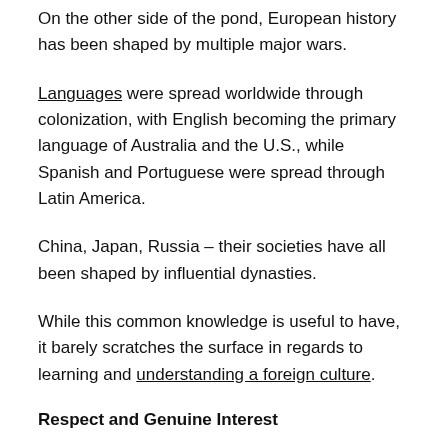On the other side of the pond, European history has been shaped by multiple major wars.
Languages were spread worldwide through colonization, with English becoming the primary language of Australia and the U.S., while Spanish and Portuguese were spread through Latin America.
China, Japan, Russia – their societies have all been shaped by influential dynasties.
While this common knowledge is useful to have, it barely scratches the surface in regards to learning and understanding a foreign culture.
Respect and Genuine Interest